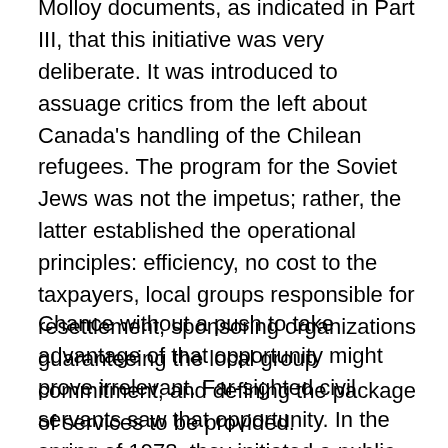Molloy documents, as indicated in Part III, that this initiative was very deliberate. It was introduced to assuage critics from the left about Canada's handling of the Chilean refugees. The program for the Soviet Jews was not the impetus; rather, the latter established the operational principles: efficiency, no cost to the taxpayers, local groups responsible for resettlement, sponsoring organizations guaranteeing the local group commitment, and defining the package of services to be provided.
Chance without a push to take advantage of that opportunity might prove irrelevant. Far-sighted civil servants saw that opportunity. In the spring of 1978, they initiated a public relations program to educate